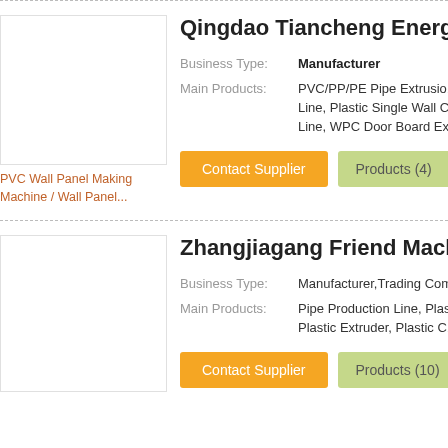[Figure (photo): Product image placeholder for Qingdao Tiancheng Energy Equipment]
Qingdao Tiancheng Energy Equipm...
Business Type: Manufacturer
Main Products: PVC/PP/PE Pipe Extrusion Line, Plastic Single Wall C... Line, WPC Door Board Ex...
PVC Wall Panel Making Machine / Wall Panel...
[Figure (photo): Product image placeholder for Zhangjiagang Friend Machinery Co]
Zhangjiagang Friend Machinery Co...
Business Type: Manufacturer,Trading Com...
Main Products: Pipe Production Line, Plas... Plastic Extruder, Plastic C...